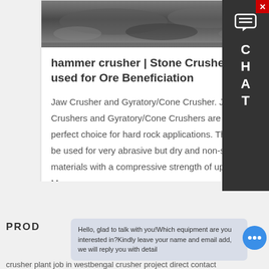[Figure (photo): Photograph of crushed stone/ore material, dark grey gravel pile, overhead view]
hammer crusher | Stone Crusher used for Ore Beneficiation
Jaw Crusher and Gyratory/Cone Crusher. Jaw Crushers and Gyratory/Cone Crushers are the perfect choice for hard rock applications. They can be used for very abrasive but dry and non-sticky materials with a compressive strength of up to 400 Mpa.
Learn More
PROD
Hello, glad to talk with you!Which equipment are you interested in?Kindly leave your name and email add, we will reply you with detail
crusher plant job in westbengal crusher project direct contact